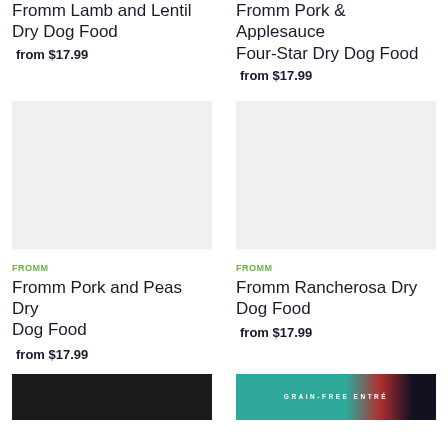Fromm Lamb and Lentil Dry Dog Food
from $17.99
Fromm Pork & Applesauce Four-Star Dry Dog Food
from $17.99
[Figure (photo): Empty light gray product image placeholder for Fromm Pork and Peas Dry Dog Food]
[Figure (photo): Empty light gray product image placeholder for Fromm Rancherosa Dry Dog Food]
FROMM
Fromm Pork and Peas Dry Dog Food
from $17.99
FROMM
Fromm Rancherosa Dry Dog Food
from $17.99
[Figure (photo): Partial dark product image at bottom left]
[Figure (photo): Partial product image at bottom right showing teal/red Grain-Free Entree packaging]